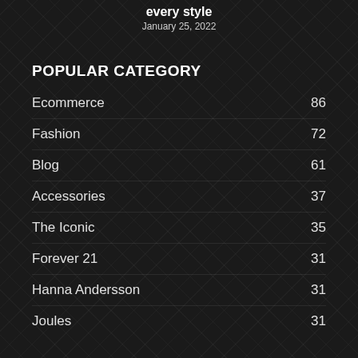every style
January 25, 2022
POPULAR CATEGORY
Ecommerce 86
Fashion 72
Blog 61
Accessories 37
The Iconic 35
Forever 21 31
Hanna Andersson 31
Joules 31